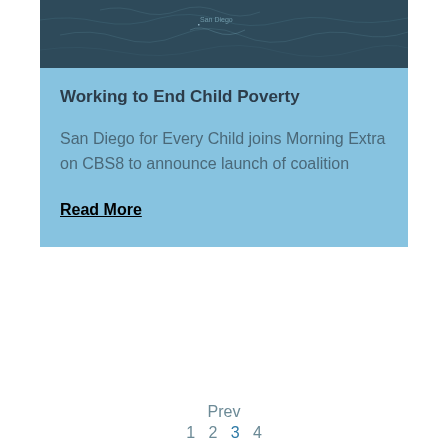[Figure (map): Partial view of a dark blue map showing geographic regions, likely the United States]
Working to End Child Poverty
San Diego for Every Child joins Morning Extra on CBS8 to announce launch of coalition
Read More
Prev 1 2 3 4